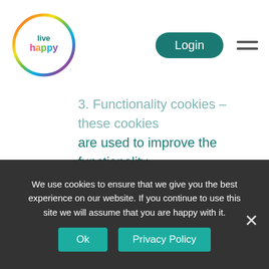[Figure (logo): Live Happy logo: circular rainbow-gradient ring around text 'live happy' in teal/multicolor sans-serif]
3. Functionality cookies – these cookies are used to improve the functionality of the Site and make it easier to use the Services. They help us to identify you as a repeat user of the Services and help us remember your preferences. These cookies help us remember information about you that saves you time by making your
We use cookies to ensure that we give you the best experience on our website. If you continue to use this site we will assume that you are happy with it.
Ok
Privacy Policy